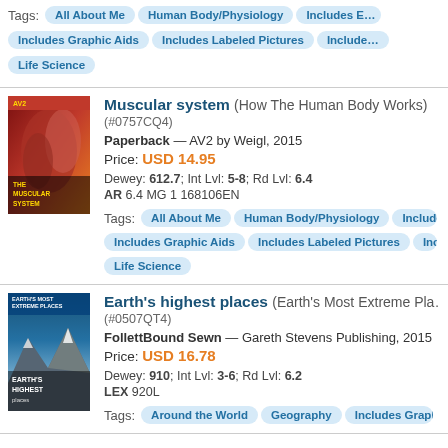Tags: All About Me | Human Body/Physiology | Includes E... | Includes Graphic Aids | Includes Labeled Pictures | Include... | Life Science
Muscular system (How The Human Body Works) (#0757CQ4)
Paperback — AV2 by Weigl, 2015
Price: USD 14.95
Dewey: 612.7; Int Lvl: 5-8; Rd Lvl: 6.4
AR 6.4 MG 1 168106EN
Tags: All About Me | Human Body/Physiology | Includes E... | Includes Graphic Aids | Includes Labeled Pictures | Include... | Life Science
Earth's highest places (Earth's Most Extreme Pla... (#0507QT4)
FollettBound Sewn — Gareth Stevens Publishing, 2015
Price: USD 16.78
Dewey: 910; Int Lvl: 3-6; Rd Lvl: 6.2
LEX 920L
Tags: Around the World | Geography | Includes Graphic A...